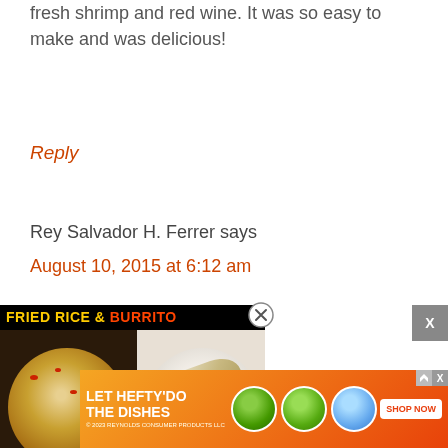fresh shrimp and red wine. It was so easy to make and was delicious!
Reply
Rey Salvador H. Ferrer says
August 10, 2015 at 6:12 am
[Figure (other): Video thumbnail overlay showing 'FRIED RICE & BURRITO' with food images and a play button]
n Saudi Arabia, I just here is any substitute for sherry or cooking wine?
please advise.
Tha
[Figure (other): Advertisement banner: LET HEFTY DO THE DISHES with product images and SHOP NOW button]